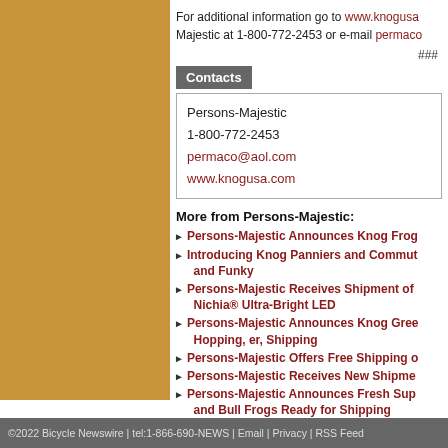For additional information go to www.knogusa.com. Majestic at 1-800-772-2453 or e-mail permaco@aol.com
###
Contacts
| Persons-Majestic |
| 1-800-772-2453 |
| permaco@aol.com |
| www.knogusa.com |
More from Persons-Majestic:
Persons-Majestic Announces Knog Frog...
Introducing Knog Panniers and Commut... and Funky
Persons-Majestic Receives Shipment of Nichia® Ultra-Bright LED
Persons-Majestic Announces Knog Gree... Hopping, er, Shipping
Persons-Majestic Offers Free Shipping o...
Persons-Majestic Receives New Shipme...
Persons-Majestic Announces Fresh Sup... and Bull Frogs Ready for Shipping
KNOG's new Gator 605 grabs overall win...
©2022 Bicycle Newswire | tel:1-866-690-NEWS | Email | Privacy | RSS Feed